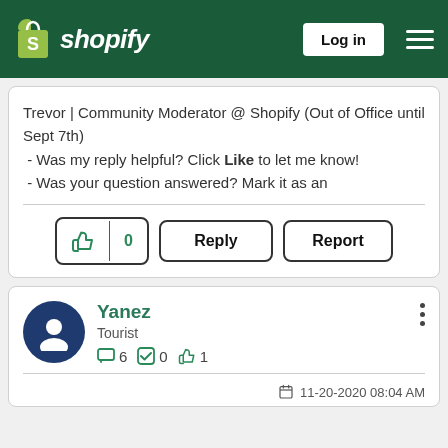Shopify — Log in
Trevor | Community Moderator @ Shopify (Out of Office until Sept 7th)
 - Was my reply helpful? Click Like to let me know!
 - Was your question answered? Mark it as an
👍 0   Reply   Report
Yanez
Tourist
💬 6  ✅ 0  👍 1
11-20-2020 08:04 AM